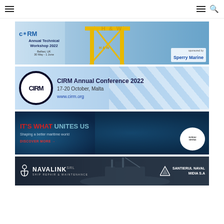Navigation bar with hamburger menus and search icon
[Figure (illustration): CIRM Annual Technical Workshop 2022 banner. Belfast, UK, 30 May - 1 June. Sponsored by Sperry Marine. Shows yellow H&W crane in background.]
[Figure (illustration): CIRM Annual Conference 2022 banner. 17-20 October, Malta. www.cirm.org. Blue diagonal stripes design with CIRM logo.]
[Figure (illustration): Bureau Veritas banner. Dark navy background with ocean imagery. Text: IT'S WHAT UNITES US. Shaping a better maritime world. DISCOVER MORE →]
[Figure (illustration): Navalink SRL Ship Repair & Maintenance banner. Dark background with ship imagery. Santierul Naval Midia S.A logo on right.]